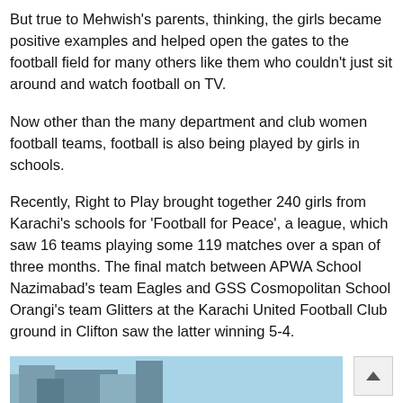But true to Mehwish's parents, thinking, the girls became positive examples and helped open the gates to the football field for many others like them who couldn't just sit around and watch football on TV.
Now other than the many department and club women football teams, football is also being played by girls in schools.
Recently, Right to Play brought together 240 girls from Karachi's schools for 'Football for Peace', a league, which saw 16 teams playing some 119 matches over a span of three months. The final match between APWA School Nazimabad's team Eagles and GSS Cosmopolitan School Orangi's team Glitters at the Karachi United Football Club ground in Clifton saw the latter winning 5-4.
[Figure (photo): Partially visible photograph at bottom of page showing buildings against a light blue sky]